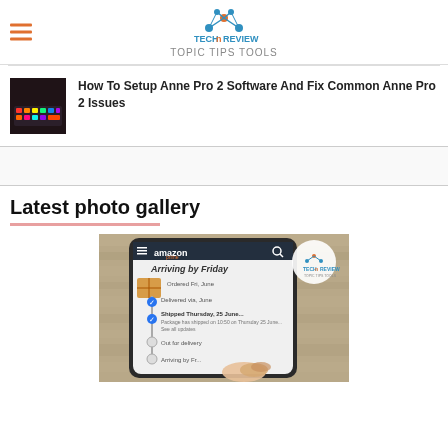TechReview
How To Setup Anne Pro 2 Software And Fix Common Anne Pro 2 Issues
[Figure (screenshot): Article thumbnail showing Anne Pro 2 keyboard with RGB backlighting in dark setting]
Latest photo gallery
[Figure (photo): Hand holding a smartphone showing Amazon app with order tracking screen reading 'Arriving by Friday'. TechReview watermark logo in top-right corner. Wooden surface background.]